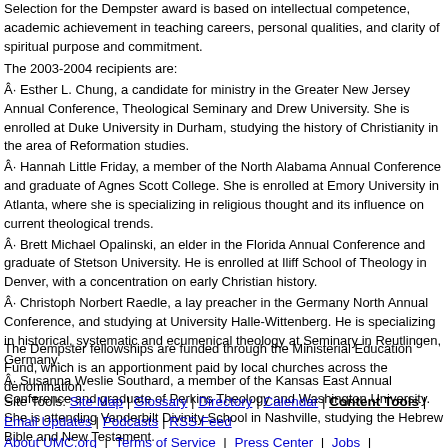Selection for the Dempster award is based on intellectual competence, academic achievement in teaching careers, personal qualities, and clarity of spiritual purpose and commitment.
The 2003-2004 recipients are:
Â· Esther L. Chung, a candidate for ministry in the Greater New Jersey Annual Conference, Theological Seminary and Drew University. She is enrolled at Duke University in Durham, studying the history of Christianity in the area of Reformation studies.
Â· Hannah Little Friday, a member of the North Alabama Annual Conference and graduate of Agnes Scott College. She is enrolled at Emory University in Atlanta, where she is specializing in religious thought and its influence on current theological trends.
Â· Brett Michael Opalinski, an elder in the Florida Annual Conference and graduate of Stetson University. He is enrolled at Iliff School of Theology in Denver, with a concentration on early Christian history.
Â· Christoph Norbert Raedle, a lay preacher in the Germany North Annual Conference, and studying at University Halle-Wittenberg. He is specializing in historical, systematic and ecumenical theology at Seminary in Reutlingen, Germany.
Â· Susanna Weslie Southard, a member of the Kansas East Annual Conference and graduate of Perkins Theology and Washington University. She is attending Vanderbilt Divinity School in Nashville, studying the Hebrew Bible and New Testament.
The Dempster fellowships are funded through the Ministerial Education Fund, which is an apportionment paid by local churches across the denomination.
Site Tools: Site Map | Glossary | Directory | Calendar | Content Tools | Email Updates | Podcasts | RSS Feed
About UMC.org | Terms of Service | Press Center | Jobs | Korean UMC | Contact Us